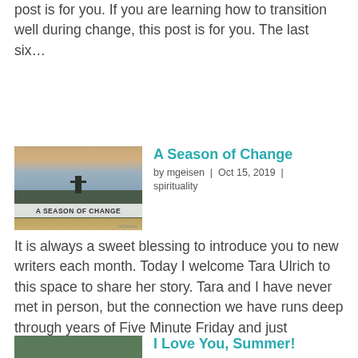post is for you. If you are learning how to transition well during change, this post is for you. The last six...
A Season of Change
by mgeisen | Oct 15, 2019 | spirituality
[Figure (photo): Landscape photo of hills with a cross silhouette and a road, titled 'A SEASON OF CHANGE']
It is always a sweet blessing to introduce you to new writers each month. Today I welcome Tara Ulrich to this space to share her story. Tara and I have never met in person, but the connection we have runs deep through years of Five Minute Friday and just supporting...
I Love You, Summer!